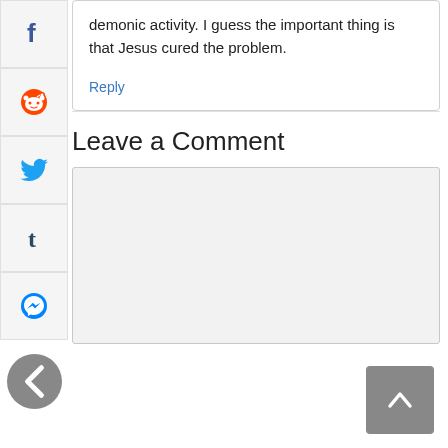demonic activity. I guess the important thing is that Jesus cured the problem.
Reply
Leave a Comment
[Figure (screenshot): Comment text area input box, empty, light gray background]
[Figure (screenshot): Scroll to top button, gray rounded square with white chevron up arrow]
[Figure (screenshot): Social share sidebar buttons: Facebook, Reddit, Twitter, Tumblr, Messenger, and a left arrow collapse button]